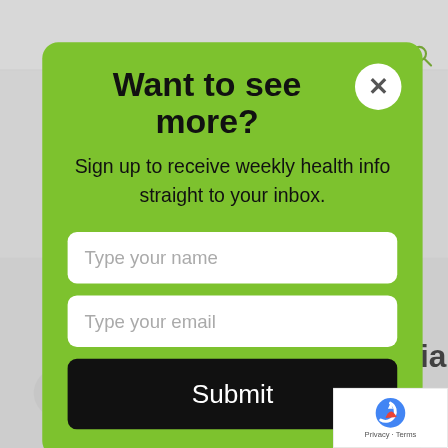Want to see more?
Sign up to receive weekly health info straight to your inbox.
Type your name
Type your email
Submit
articles
Herd dynamics – the social lives of hor